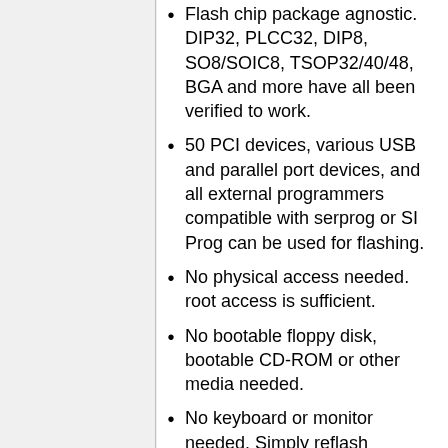Flash chip package agnostic. DIP32, PLCC32, DIP8, SO8/SOIC8, TSOP32/40/48, BGA and more have all been verified to work.
50 PCI devices, various USB and parallel port devices, and all external programmers compatible with serprog or SI Prog can be used for flashing.
No physical access needed. root access is sufficient.
No bootable floppy disk, bootable CD-ROM or other media needed.
No keyboard or monitor needed. Simply reflash remotely via SSH.
No instant reboot needed. Reflash your ROM in a running system, verify it, be happy. The new firmware will be present next time you boot.
Crossflashing and hotflashing is